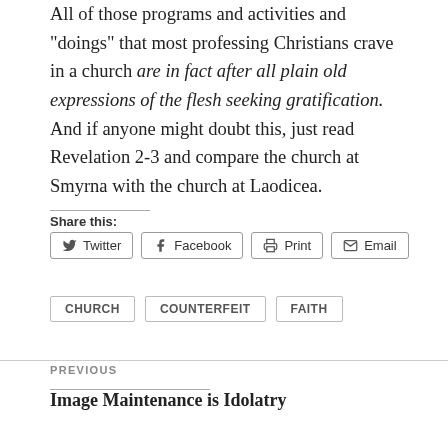All of those programs and activities and "doings" that most professing Christians crave in a church are in fact after all plain old expressions of the flesh seeking gratification. And if anyone might doubt this, just read Revelation 2-3 and compare the church at Smyrna with the church at Laodicea.
Share this:
Twitter  Facebook  Print  Email
CHURCH
COUNTERFEIT
FAITH
PREVIOUS
Image Maintenance is Idolatry